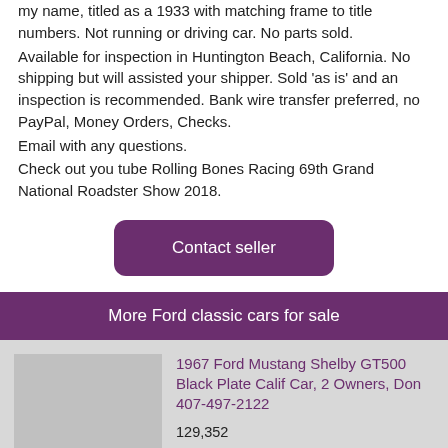my name, titled as a 1933 with matching frame to title numbers. Not running or driving car. No parts sold.
Available for inspection in Huntington Beach, California. No shipping but will assisted your shipper. Sold 'as is' and an inspection is recommended. Bank wire transfer preferred, no PayPal, Money Orders, Checks.
Email with any questions.
Check out you tube Rolling Bones Racing 69th Grand National Roadster Show 2018.
Contact seller
More Ford classic cars for sale
1967 Ford Mustang Shelby GT500 Black Plate Calif Car, 2 Owners, Don 407-497-2122
129,352
Orlando, Florida, United States
428i 2x4
Automatic